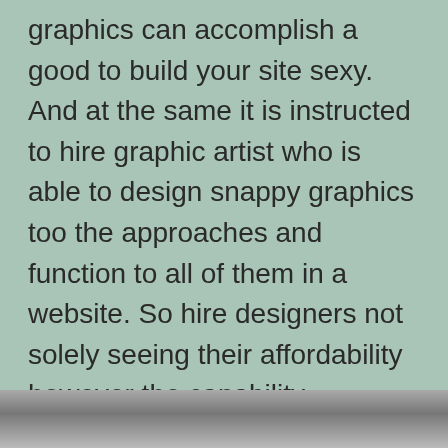graphics can accomplish a good to build your site sexy. And at the same it is instructed to hire graphic artist who is able to design snappy graphics too the approaches and function to all of them in a website. So hire designers not solely seeing their affordability however the capability. https://sites.google.com/view/procreateformac/home 's totally try the right Graphic Designing lender from region like India, which makes available best persons at most excellent affordable be priced.
[Figure (photo): Partial photo strip at the bottom of the page, grayscale, content not fully visible]